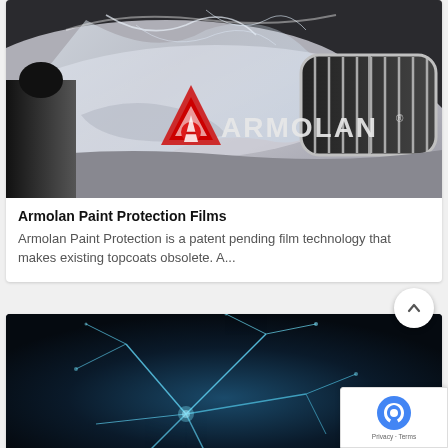[Figure (photo): Close-up photo of a silver BMW car front with paint protection film applied, Armolan logo visible in center]
Armolan Paint Protection Films
Armolan Paint Protection is a patent pending film technology that makes existing topcoats obsolete. A...
[Figure (photo): Dark background with cracked glass / shatter pattern in light blue tones, partial view]